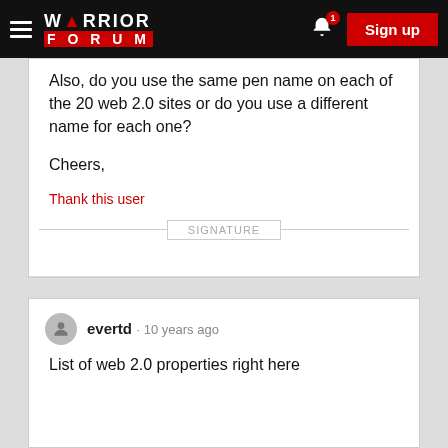Warrior Forum — Sign up
Also, do you use the same pen name on each of the 20 web 2.0 sites or do you use a different name for each one?

Cheers,
Thank this user
SIGNATURE
evertd · 10 years ago
List of web 2.0 properties right here